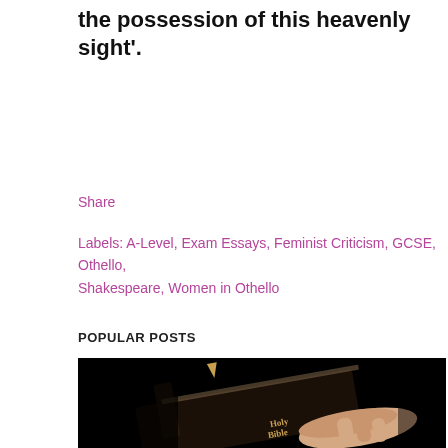the possession of this heavenly sight'.
Share
Labels: A-Level, Exam Essays, Feminist Criticism, GCSE, Othello, Shakespeare, Women in Othello
POPULAR POSTS
[Figure (photo): A hand holding an old worn Holy Bible against a dark black background]